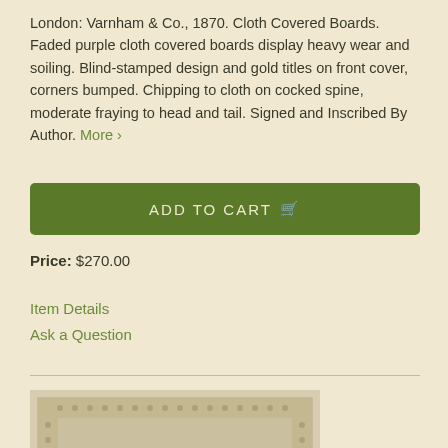London: Varnham & Co., 1870. Cloth Covered Boards. Faded purple cloth covered boards display heavy wear and soiling. Blind-stamped design and gold titles on front cover, corners bumped. Chipping to cloth on cocked spine, moderate fraying to head and tail. Signed and Inscribed By Author. More ›
ADD TO CART
Price: $270.00
Item Details
Ask a Question
[Figure (photo): Photograph of a book cover with decorative border pattern, shown in a beige/tan color with ornamental framing details]